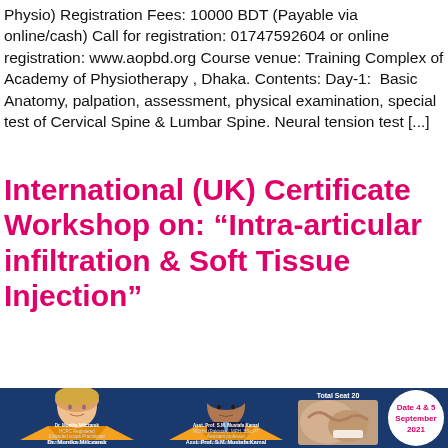Physio) Registration Fees: 10000 BDT (Payable via online/cash) Call for registration: 01747592604 or online registration: www.aopbd.org Course venue: Training Complex of Academy of Physiotherapy , Dhaka. Contents: Day-1: Basic Anatomy, palpation, assessment, physical examination, special test of Cervical Spine & Lumbar Spine. Neural tension test [...]
International (UK) Certificate Workshop on: “Intra-articular infiltration & Soft Tissue Injection”
[Figure (photo): Workshop banner showing two instructors (Dr. Monika Milczarek - HCPC Registered Extended scope Practitioner, International course Instructor; and Asst. Prof. S.M. Mustafa Kamal - MCHM (Pakistan), MPH, BSc.PT, Assistant professor, RCPST-affiliated to University of Dhaka, International Course Instructor) with orange chevron backgrounds, and a white circle showing Date 4 & 5 September 2021, and Total Seat 20 text on a dark blue background.]